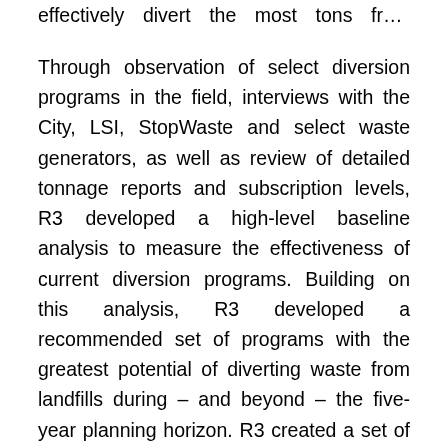effectively divert the most tons from disposal.
Through observation of select diversion programs in the field, interviews with the City, LSI, StopWaste and select waste generators, as well as review of detailed tonnage reports and subscription levels, R3 developed a high-level baseline analysis to measure the effectiveness of current diversion programs. Building on this analysis, R3 developed a recommended set of programs with the greatest potential of diverting waste from landfills during – and beyond – the five-year planning horizon. R3 created a set of recommendations that focus on ways in which the City can enhance the effectiveness of current programs, as well as develop new programs to